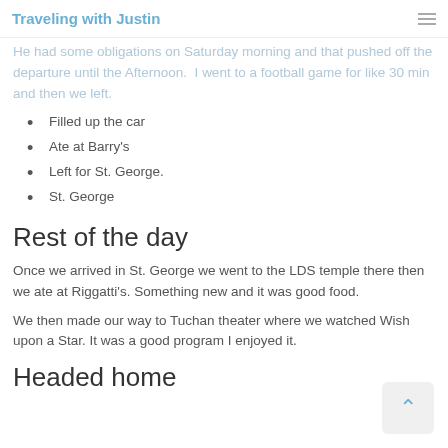Traveling with Justin
He had some obligations on Saturday morning and that pushed off the departure until the Afternoon. I went to a football game for like 30 min and then we left.
Filled up the car
Ate at Barry's
Left for St. George.
St. George
Rest of the day
Once we arrived in St. George we went to the LDS temple there then we ate at Riggatti's. Something new and it was good food.
We then made our way to Tuchan theater where we watched Wish upon a Star. It was a good program I enjoyed it.
Headed home